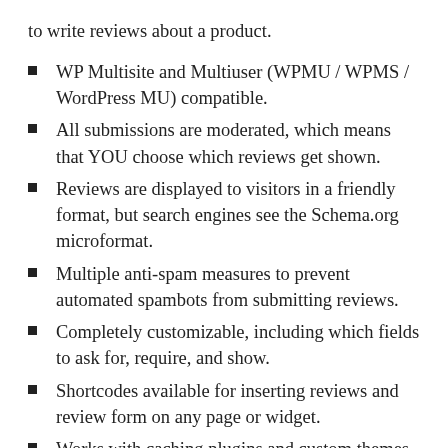to write reviews about a product.
WP Multisite and Multiuser (WPMU / WPMS / WordPress MU) compatible.
All submissions are moderated, which means that YOU choose which reviews get shown.
Reviews are displayed to visitors in a friendly format, but search engines see the Schema.org microformat.
Multiple anti-spam measures to prevent automated spambots from submitting reviews.
Completely customizable, including which fields to ask for, require, and show.
Shortcodes available for inserting reviews and review form on any page or widget.
Works with caching plugins and custom themes.
Includes an external stylesheet so you can modify it to better fit your theme.
Reviews can be edited by admin for content and